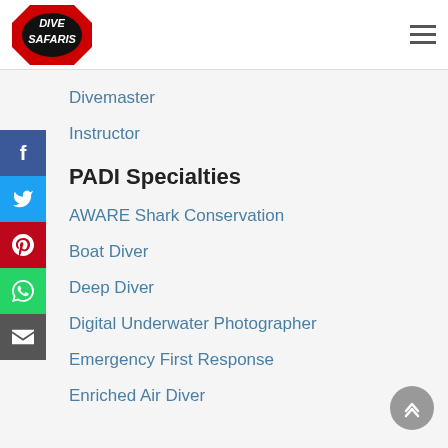[Figure (logo): Dive Safaris logo — red and white with black oval, text 'DIVE SAFARIS']
Divemaster
Instructor
PADI Specialties
AWARE Shark Conservation
Boat Diver
Deep Diver
Digital Underwater Photographer
Emergency First Response
Enriched Air Diver